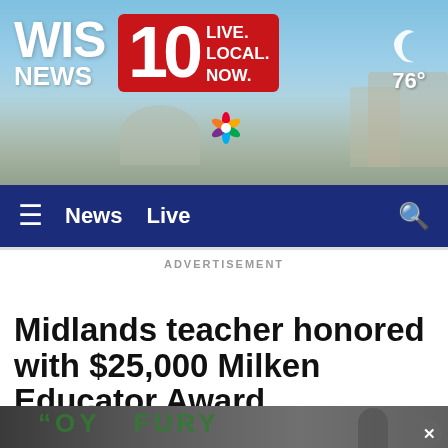[Figure (screenshot): WIS News 10 website header banner with city background, logo showing WIS NEWS 10 LIVE. LOCAL. NOW., NBC peacock logo, and weather showing 76°]
≡  News  Live  🔍
ADVERTISEMENT
Midlands teacher honored with $25,000 Milken Educator Award
[Figure (photo): Bottom strip showing partial image with green FURY text on dark background and a person visible on right side]